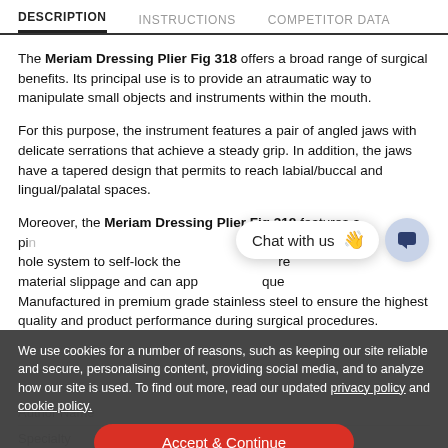DESCRIPTION | INSTRUCTIONS | COMPETITOR DATA
The Meriam Dressing Plier Fig 318 offers a broad range of surgical benefits. Its principal use is to provide an atraumatic way to manipulate small objects and instruments within the mouth.
For this purpose, the instrument features a pair of angled jaws with delicate serrations that achieve a steady grip. In addition, the jaws have a tapered design that permits to reach labial/buccal and lingual/palatal spaces.
Moreover, the Meriam Dressing Plier Fig 318 features a pin hole system to self-lock the … material slippage and can apply … torque …
Manufactured in premium grade stainless steel to ensure the highest quality and product performance during surgical procedures.
[Figure (screenshot): Chat with us widget overlay with waving hand emoji and chat icon button]
We use cookies for a number of reasons, such as keeping our site reliable and secure, personalising content, providing social media, and to analyze how our site is used. To find out more, read our updated privacy policy and cookie policy.
Accept & Continue
| Author Name |  |
| --- | --- |
| Specialty | Dental |